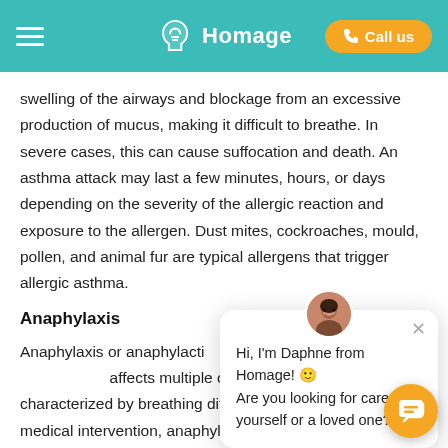Homage — Call us
swelling of the airways and blockage from an excessive production of mucus, making it difficult to breathe. In severe cases, this can cause suffocation and death. An asthma attack may last a few minutes, hours, or days depending on the severity of the allergic reaction and exposure to the allergen. Dust mites, cockroaches, mould, pollen, and animal fur are typical allergens that trigger allergic asthma.
Anaphylaxis
Anaphylaxis or anaphylactic shock is a severe allergic reaction that affects multiple organ systems and is characterized by breathing difficulties. Without urgent medical intervention, anaphylaxis can cause suffocation or cardiovascular collapse resulting in death. It is a complication that can arise from a...
[Figure (screenshot): Chat popup from Daphne at Homage: 'Hi, I'm Daphne from Homage! Are you looking for care for yourself or a loved one?' with close button and avatar photo of an Asian woman.]